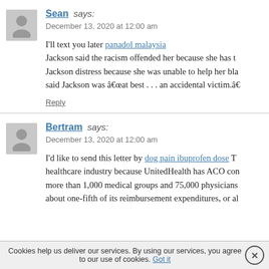Sean says: December 13, 2020 at 12:00 am
I'll text you later panadol malaysia Jackson said the racism offended her because she has t... Jackson distress because she was unable to help her bla... said Jackson was â€œat best . . . an accidental victim.â€
Reply
Bertram says: December 13, 2020 at 12:00 am
I'd like to send this letter by dog pain ibuprofen dose T... healthcare industry because UnitedHealth has ACO co... more than 1,000 medical groups and 75,000 physicians... about one-fifth of its reimbursement expenditures, or a...
Cookies help us deliver our services. By using our services, you agree to our use of cookies. Got it